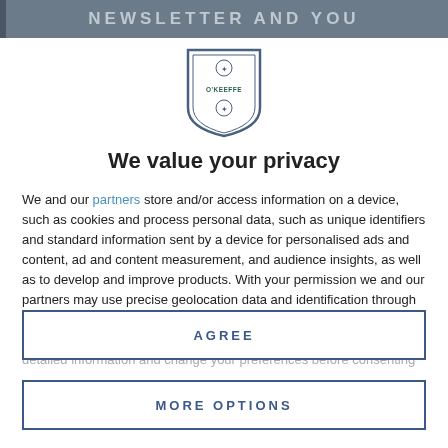NEWSLETTER AND YOU
[Figure (logo): O'Keeffe shield/crest logo in navy and teal]
We value your privacy
We and our partners store and/or access information on a device, such as cookies and process personal data, such as unique identifiers and standard information sent by a device for personalised ads and content, ad and content measurement, and audience insights, as well as to develop and improve products. With your permission we and our partners may use precise geolocation data and identification through device scanning. You may click to consent to our and our partners' processing as described above. Alternatively you may access more detailed information and change your preferences before consenting
AGREE
MORE OPTIONS